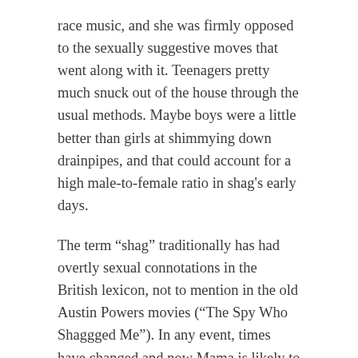race music, and she was firmly opposed to the sexually suggestive moves that went along with it. Teenagers pretty much snuck out of the house through the usual methods. Maybe boys were a little better than girls at shimmying down drainpipes, and that could account for a high male-to-female ratio in shag's early days.
The term “shag” traditionally has had overtly sexual connotations in the British lexicon, not to mention in the old Austin Powers movies (“The Spy Who Shaggged Me”). In any event, times have changed and now Mama is likely to be out on the dance floor executing the belly roll in front of hundreds of onlookers.
The basic shag step is done in a six- or eight-count rhythm in four/four time, stepping forward, stepping backward, and a rocking step, which in combination looks deceptively easy. Dance historians believe it originated with swing dancing during the Big Band Era-